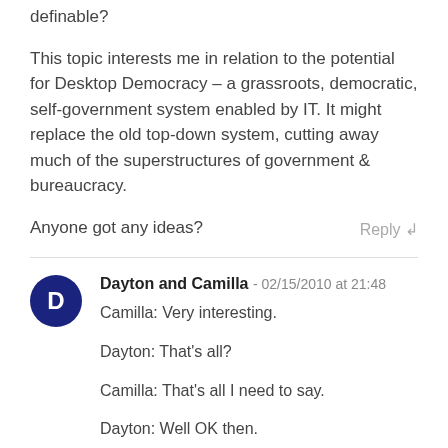definable?

This topic interests me in relation to the potential for Desktop Democracy – a grassroots, democratic, self-government system enabled by IT. It might replace the old top-down system, cutting away much of the superstructures of government & bureaucracy.

Anyone got any ideas?
Reply ↲
Dayton and Camilla - 02/15/2010 at 21:48

Camilla: Very interesting.

Dayton: That's all?

Camilla: That's all I need to say.

Dayton: Well OK then.